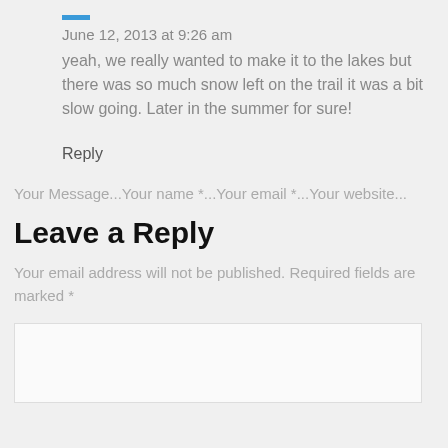June 12, 2013 at 9:26 am
yeah, we really wanted to make it to the lakes but there was so much snow left on the trail it was a bit slow going. Later in the summer for sure!
Reply
Your Message...Your name *...Your email *...Your website...
Leave a Reply
Your email address will not be published. Required fields are marked *
[Figure (other): Empty text area input field for comment submission]